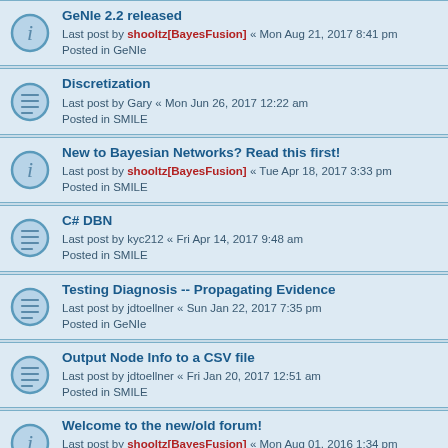GeNIe 2.2 released
Last post by shooltz[BayesFusion] « Mon Aug 21, 2017 8:41 pm
Posted in GeNIe
Discretization
Last post by Gary « Mon Jun 26, 2017 12:22 am
Posted in SMILE
New to Bayesian Networks? Read this first!
Last post by shooltz[BayesFusion] « Tue Apr 18, 2017 3:33 pm
Posted in SMILE
C# DBN
Last post by kyc212 « Fri Apr 14, 2017 9:48 am
Posted in SMILE
Testing Diagnosis -- Propagating Evidence
Last post by jdtoellner « Sun Jan 22, 2017 7:35 pm
Posted in GeNIe
Output Node Info to a CSV file
Last post by jdtoellner « Fri Jan 20, 2017 12:51 am
Posted in SMILE
Welcome to the new/old forum!
Last post by shooltz[BayesFusion] « Mon Aug 01, 2016 1:34 pm
Posted in GeNIe
DBN inference / parameter learning
Last post by tholorthored « Sat Feb 20, 2016 3:00 pm
Posted in SMILE
A new learner of GeNIe from China who are eager for your